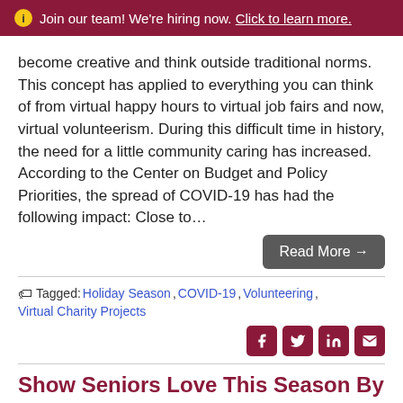Join our team! We're hiring now. Click to learn more.
become creative and think outside traditional norms. This concept has applied to everything you can think of from virtual happy hours to virtual job fairs and now, virtual volunteerism. During this difficult time in history, the need for a little community caring has increased. According to the Center on Budget and Policy Priorities, the spread of COVID-19 has had the following impact: Close to…
Read More →
Tagged: Holiday Season, COVID-19, Volunteering, Virtual Charity Projects
Show Seniors Love This Season By Donating Items They Need